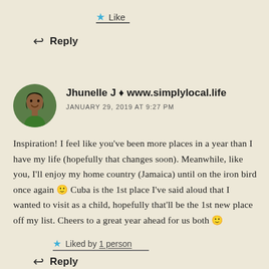★ Like
↩ Reply
[Figure (photo): Round avatar photo of Jhunelle J, a woman smiling, wearing a green top, with trees in the background]
Jhunelle J ♦ www.simplylocal.life
JANUARY 29, 2019 AT 9:27 PM
Inspiration! I feel like you've been more places in a year than I have my life (hopefully that changes soon). Meanwhile, like you, I'll enjoy my home country (Jamaica) until on the iron bird once again 🙂 Cuba is the 1st place I've said aloud that I wanted to visit as a child, hopefully that'll be the 1st new place off my list. Cheers to a great year ahead for us both 🙂
★ Liked by 1 person
↩ Reply